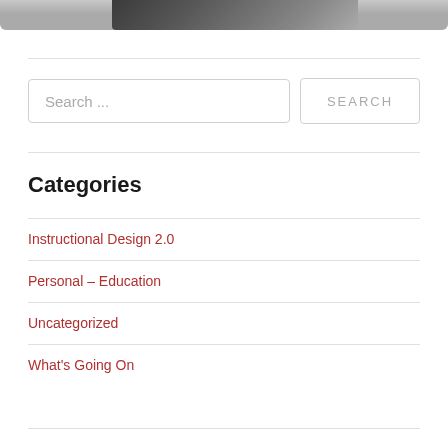[Figure (photo): Partial photo of a person at the top of the page, cropped]
Search ...
SEARCH
Categories
Instructional Design 2.0
Personal – Education
Uncategorized
What's Going On